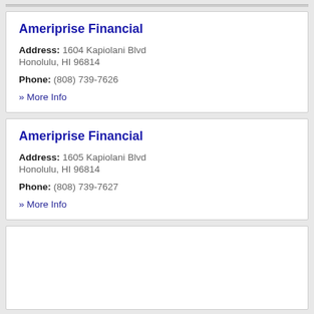Ameriprise Financial
Address: 1604 Kapiolani Blvd Honolulu, HI 96814
Phone: (808) 739-7626
» More Info
Ameriprise Financial
Address: 1605 Kapiolani Blvd Honolulu, HI 96814
Phone: (808) 739-7627
» More Info